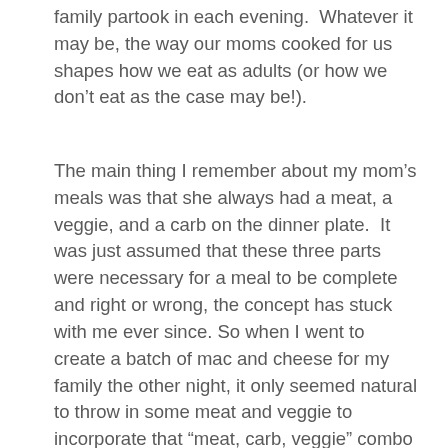family partook in each evening.  Whatever it may be, the way our moms cooked for us shapes how we eat as adults (or how we don't eat as the case may be!).
The main thing I remember about my mom's meals was that she always had a meat, a veggie, and a carb on the dinner plate.  It was just assumed that these three parts were necessary for a meal to be complete and right or wrong, the concept has stuck with me ever since. So when I went to create a batch of mac and cheese for my family the other night, it only seemed natural to throw in some meat and veggie to incorporate that “meat, carb, veggie” combo and get it all together in one delicious combination of flavors (Or in other words: Mommie is too lazy to cook up separate parts of the meal and finds it much easier just to throw everything together into one big pot of dinner deliciousness).